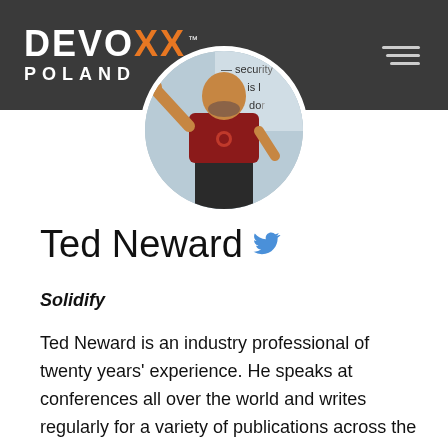DEVOXX POLAND
[Figure (photo): Circular profile photo of Ted Neward, a man in a red shirt presenting at a conference, with text on a screen behind him partially visible.]
Ted Neward
Solidify
Ted Neward is an industry professional of twenty years' experience. He speaks at conferences all over the world and writes regularly for a variety of publications across the Java, .NET and other ecosystems. He...